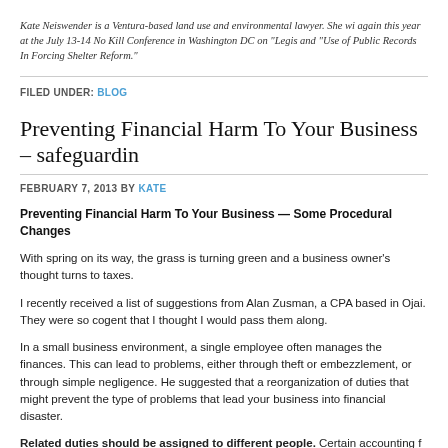Kate Neiswender is a Ventura-based land use and environmental lawyer. She will again this year at the July 13-14 No Kill Conference in Washington DC on "Legis and "Use of Public Records In Forcing Shelter Reform."
FILED UNDER: BLOG
Preventing Financial Harm To Your Business – safeguardin
FEBRUARY 7, 2013 BY KATE
Preventing Financial Harm To Your Business — Some Procedural Changes
With spring on its way, the grass is turning green and a business owner's thought turns to taxes.
I recently received a list of suggestions from Alan Zusman, a CPA based in Ojai. They were so cogent that I thought I would pass them along.
In a small business environment, a single employee often manages the finances. This can lead to problems, either through theft or embezzlement,  or through simple negligence. He suggested that a  reorganization of duties that might prevent the type of problems that lead your business into  financial disaster.
Related duties should be assigned to different people.  Certain accounting f